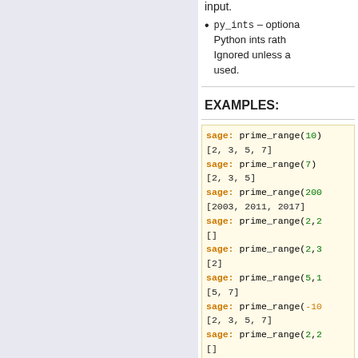input.
py_ints – optional Python ints rather than Sage integers. Ignored unless a ... used.
EXAMPLES:
sage: prime_range(10)
[2, 3, 5, 7]
sage: prime_range(7)
[2, 3, 5]
sage: prime_range(2000...)
[2003, 2011, 2017]
sage: prime_range(2,2...)
[]
sage: prime_range(2,3...)
[2]
sage: prime_range(5,1...)
[5, 7]
sage: prime_range(-10...)
[2, 3, 5, 7]
sage: prime_range(2,2...)
[]
sage: prime_range(10*...)
[100000000000000061...